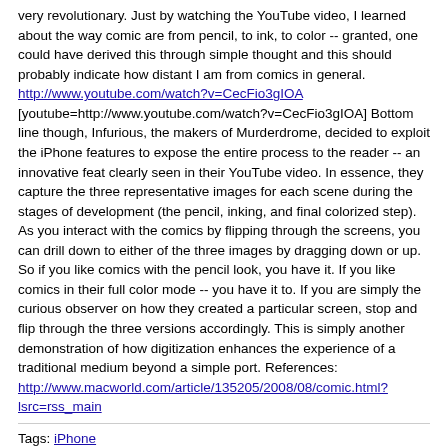very revolutionary.  Just by watching the YouTube video, I learned about the way comic are from pencil, to ink, to color -- granted, one could have derived this through simple thought and this should probably indicate how distant I am from comics in general. http://www.youtube.com/watch?v=CecFio3gIOA [youtube=http://www.youtube.com/watch?v=CecFio3gIOA] Bottom line though, Infurious, the makers of Murderdrome, decided to exploit the iPhone features to expose the entire process to the reader -- an innovative feat clearly seen in their YouTube video. In essence, they capture the three representative images for each scene during the stages of development (the pencil, inking, and final colorized step).  As you interact with the comics by flipping through the screens, you can drill down to either of the three images by dragging down or up. So if you like comics with the pencil look, you have it.  If you like comics in their full color mode -- you have it to.  If you are simply the curious observer on how they created a particular screen, stop and flip through the three versions accordingly. This is simply another demonstration of how digitization enhances the experience of a traditional medium beyond a simple port. References: http://www.macworld.com/article/135205/2008/08/comic.html?lsrc=rss_main
Tags: iPhone
Categories: iPhone / iPad